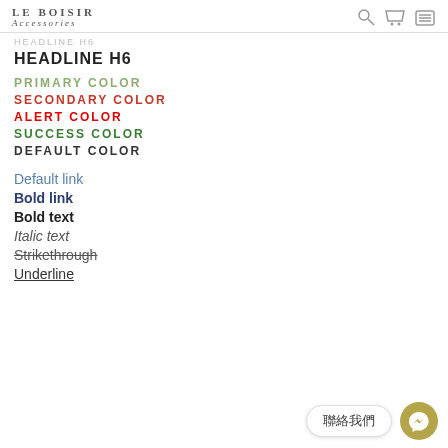LE BOISIR Accessories
HEADLINE H6 (faded)
HEADLINE H6
PRIMARY COLOR
SECONDARY COLOR
ALERT COLOR
SUCCESS COLOR
DEFAULT COLOR
Default link
Bold link
Bold text
Italic text
Strikethrough
Underline
聯絡我們